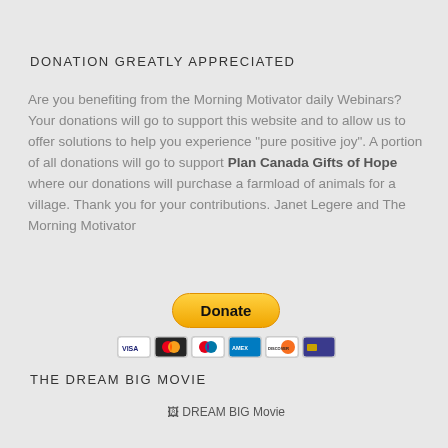DONATION GREATLY APPRECIATED
Are you benefiting from the Morning Motivator daily Webinars? Your donations will go to support this website and to allow us to offer solutions to help you experience "pure positive joy". A portion of all donations will go to support Plan Canada Gifts of Hope where our donations will purchase a farmload of animals for a village. Thank you for your contributions. Janet Legere and The Morning Motivator
[Figure (other): PayPal Donate button with payment method icons (Visa, Mastercard, Maestro, AmEx, Discover, and another card)]
THE DREAM BIG MOVIE
[Figure (other): Broken image placeholder labeled 'DREAM BIG Movie']